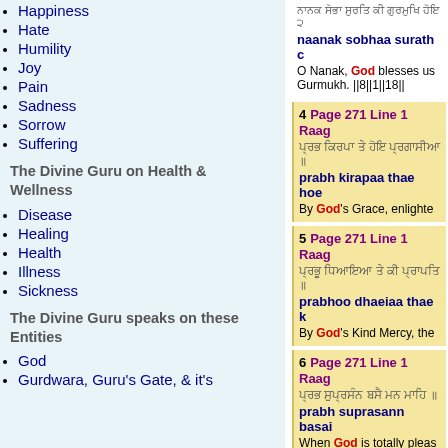Happiness
Hate
Humility
Joy
Pain
Sadness
Sorrow
Suffering
The Divine Guru on Health & Wellness
Disease
Healing
Health
Illness
Sickness
The Divine Guru speaks on these Entities
God
Gurdwara, Guru's Gate, & it's
naanak sobhaa surath c
O Nanak, God blesses us Gurmukh. ||8||1||18||
4 Page 271 Line 1 Raag
prabh kirapaa thae hoe
By God's Grace, enlighte
5 Page 271 Line 1 Raag
prabhoo dhaeiaa thae k
By God's Kind Mercy, the
6 Page 271 Line 1 Raag
prabh suprasann basai
When God is totally pleas